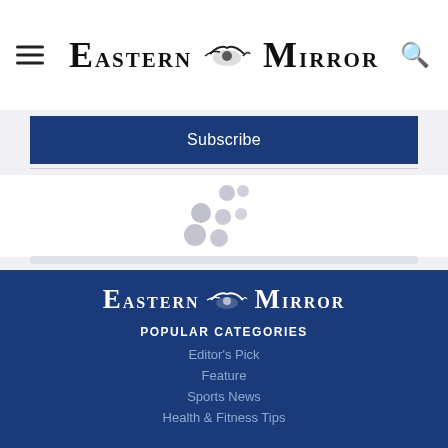Eastern Mirror
Subscribe
[Figure (infographic): Loading spinner dots in gray]
[Figure (logo): Eastern Mirror logo in white on dark blue footer]
POPULAR CATEGORIES
Editor's Pick
Feature
Sports News
Health & Fitness Tips